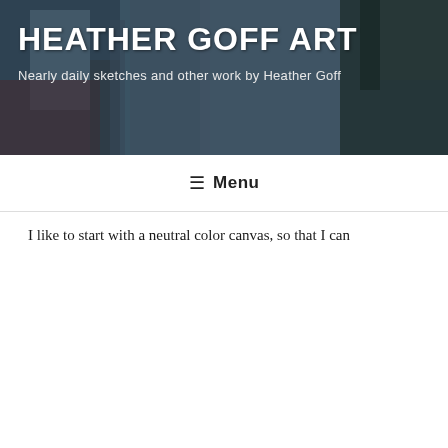HEATHER GOFF ART
Nearly daily sketches and other work by Heather Goff
Menu
MONTH: SEPTEMBER 2014
SEPTEMBER 30, 2014
A drawing in progress 3
I draw digitally, using a wacom tablet and Painter software. My computer screen is large enough that I can reference a photo, putting it beside the canvas that I am drawing on.
I like to start with a neutral color canvas, so that I can